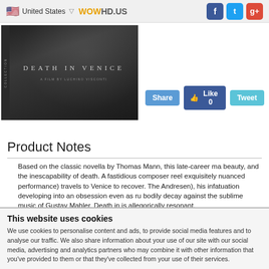United States  ▽  WOWHD.US  [Facebook] [Twitter] [Google+]
[Figure (photo): Movie cover for 'Death in Venice - A Film by Luchino Visconti', Criterion Collection, dark background with shadowy figure]
Share  Like 0  Tweet
Product Notes
Based on the classic novella by Thomas Mann, this late-career ma beauty, and the inescapability of death. A fastidious composer reel exquisitely nuanced performance) travels to Venice to recover. The Andresen), his infatuation developing into an obsession even as ru bodily decay against the sublime music of Gustav Mahler, Death in is allegorically resonant.
This website uses cookies
We use cookies to personalise content and ads, to provide social media features and to analyse our traffic. We also share information about your use of our site with our social media, advertising and analytics partners who may combine it with other information that you've provided to them or that they've collected from your use of their services.